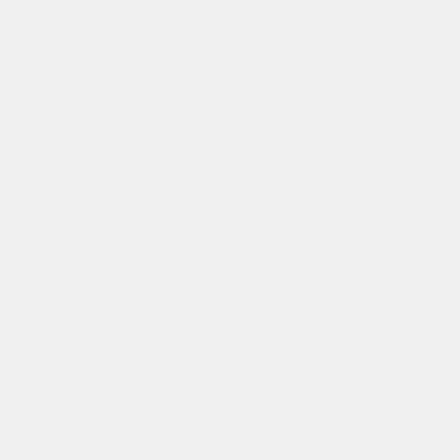[Figure (photo): Partial view of a photograph at the top of the first blog post, dark/nature scene]
at 16:33.  [email icon]  No comm
Sunday, February 01, 2009
Frank Rosolino
I've been listening to a lot of tenorist Richie Kamuca. Th However, Richie is not the known his work with Ken little of him until his untim On these sides, he sound Whatever, the result is som His vocal chops weren't ba His death was a tragedy. I the gun on himself. He was 52 years old.